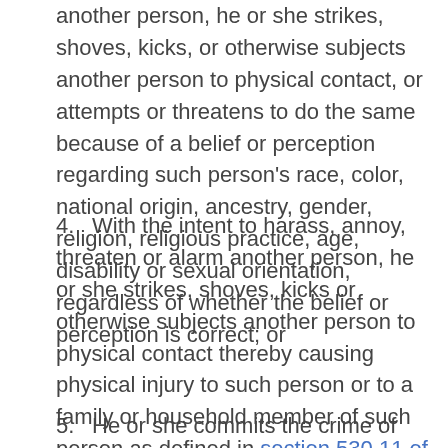with the intent to harass, annoy, threaten or alarm another person, he or she strikes, shoves, kicks, or otherwise subjects another person to physical contact, or attempts or threatens to do the same because of a belief or perception regarding such person's race, color, national origin, ancestry, gender, religion, religious practice, age, disability or sexual orientation, regardless of whether the belief or perception is correct;  or
4.    With the intent to harass, annoy, threaten or alarm another person, he or she strikes, shoves, kicks or otherwise subjects another person to physical contact thereby causing physical injury to such person or to a family or household member of such person as defined in section 530.11 of the criminal procedure law ;  or
5.    He or she commits the crime of harassment in